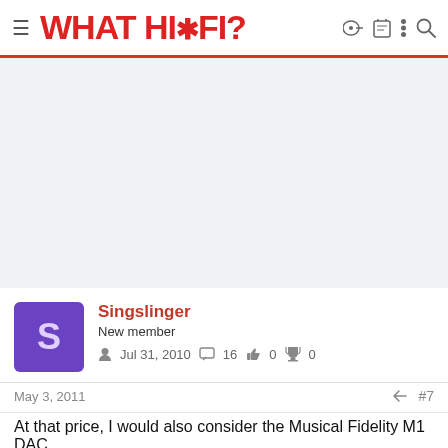WHAT HI*FI?
[Figure (other): Advertisement / blank gray area placeholder]
Singslinger
New member
Jul 31, 2010   16   0   0
May 3, 2011   #7
At that price, I would also consider the Musical Fidelity M1 DAC.